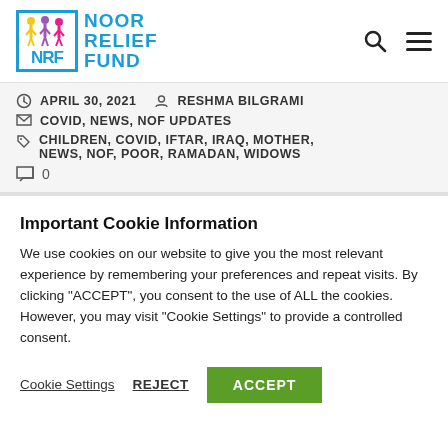[Figure (logo): Noor Relief Fund logo with NRF letters and stylized family figures inside a blue bordered box, next to NOOR RELIEF FUND text in blue]
APRIL 30, 2021    RESHMA BILGRAMI
COVID, NEWS, NOF UPDATES
CHILDREN, COVID, IFTAR, IRAQ, MOTHER, NEWS, NOF, POOR, RAMADAN, WIDOWS
0
Important Cookie Information
We use cookies on our website to give you the most relevant experience by remembering your preferences and repeat visits. By clicking “ACCEPT”, you consent to the use of ALL the cookies. However, you may visit "Cookie Settings" to provide a controlled consent.
Cookie Settings    REJECT    ACCEPT